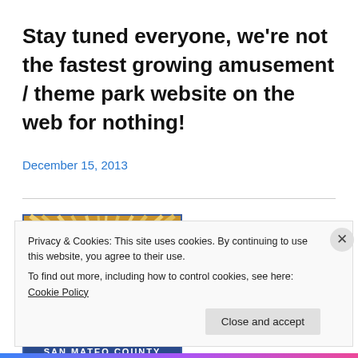Stay tuned everyone, we're not the fastest growing amusement / theme park website on the web for nothing!
December 15, 2013
[Figure (logo): San Mateo County official logo showing a blue dome/capitol building with sunburst rays on a golden/brown background, with 'SAN MATEO COUNTY' text at the bottom]
Privacy & Cookies: This site uses cookies. By continuing to use this website, you agree to their use.
To find out more, including how to control cookies, see here: Cookie Policy